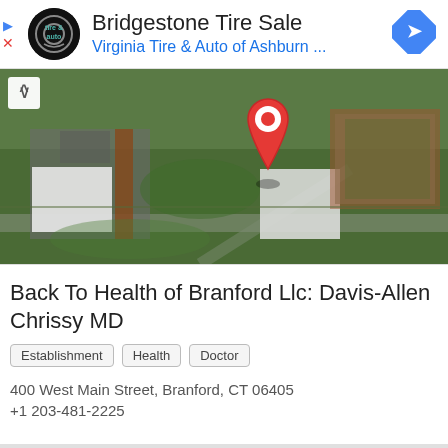[Figure (infographic): Advertisement banner: Bridgestone Tire Sale - Virginia Tire & Auto of Ashburn logo and text with blue navigation arrow icon]
[Figure (map): Aerial/satellite map view showing the location of Back To Health of Branford Llc with a red map pin marker pointing to a building surrounded by green fields and parking lots]
Back To Health of Branford Llc: Davis-Allen Chrissy MD
Establishment
Health
Doctor
400 West Main Street, Branford, CT 06405
+1 203-481-2225